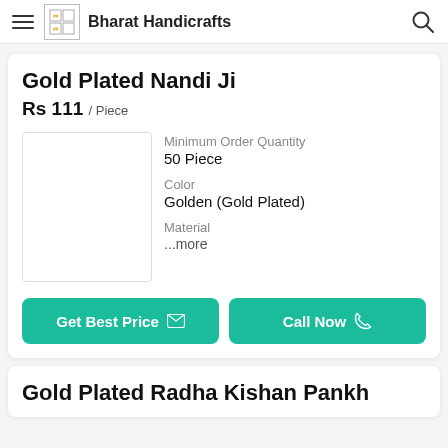Bharat Handicrafts
Gold Plated Nandi Ji
Rs 111 / Piece
Minimum Order Quantity
50 Piece
Color
Golden (Gold Plated)
Material
...more
[Figure (photo): Product image placeholder (white/empty box with border)]
Get Best Price
Call Now
Gold Plated Radha Kishan Pankh